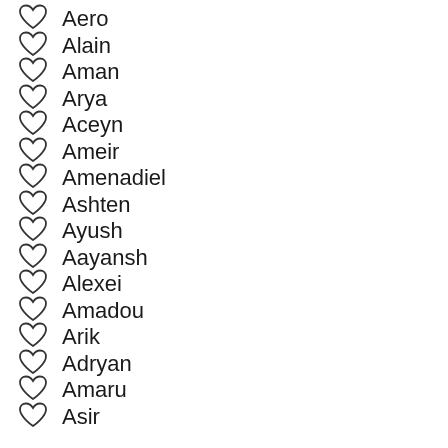Aero
Alain
Aman
Arya
Aceyn
Ameir
Amenadiel
Ashten
Ayush
Aayansh
Alexei
Amadou
Arik
Adryan
Amaru
Asir